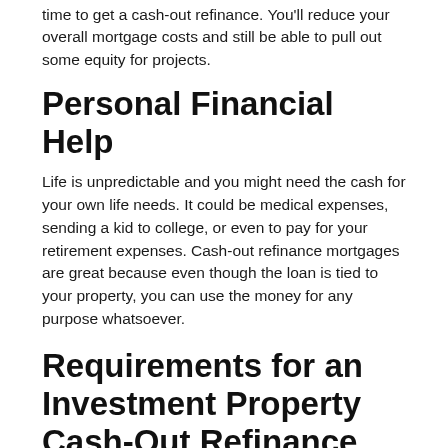time to get a cash-out refinance. You'll reduce your overall mortgage costs and still be able to pull out some equity for projects.
Personal Financial Help
Life is unpredictable and you might need the cash for your own life needs. It could be medical expenses, sending a kid to college, or even to pay for your retirement expenses. Cash-out refinance mortgages are great because even though the loan is tied to your property, you can use the money for any purpose whatsoever.
Requirements for an Investment Property Cash-Out Refinance
Lenders will want to see that you have a significant amount of equity in your rental unit. That means having a nice low loan-to-value ratio. You will also need to have a